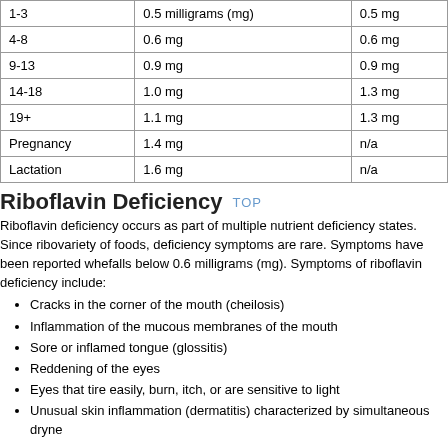| Age | Female | Male |
| --- | --- | --- |
| 1-3 | 0.5 milligrams (mg) | 0.5 mg |
| 4-8 | 0.6 mg | 0.6 mg |
| 9-13 | 0.9 mg | 0.9 mg |
| 14-18 | 1.0 mg | 1.3 mg |
| 19+ | 1.1 mg | 1.3 mg |
| Pregnancy | 1.4 mg | n/a |
| Lactation | 1.6 mg | n/a |
Riboflavin Deficiency
Riboflavin deficiency occurs as part of multiple nutrient deficiency states. Since riboflavin is found in a variety of foods, deficiency symptoms are rare. Symptoms have been reported when daily intake falls below 0.6 milligrams (mg). Symptoms of riboflavin deficiency include:
Cracks in the corner of the mouth (cheilosis)
Inflammation of the mucous membranes of the mouth
Sore or inflamed tongue (glossitis)
Reddening of the eyes
Eyes that tire easily, burn, itch, or are sensitive to light
Unusual skin inflammation (dermatitis) characterized by simultaneous dryness and greasiness
Riboflavin Toxicity
Riboflavin is relatively nontoxic. Although no adverse effects have been associated with riboflavin from food or supplements, the potential may exist. Therefore, caution may be warranted with excessive amounts of riboflavin.
Major Food Sources